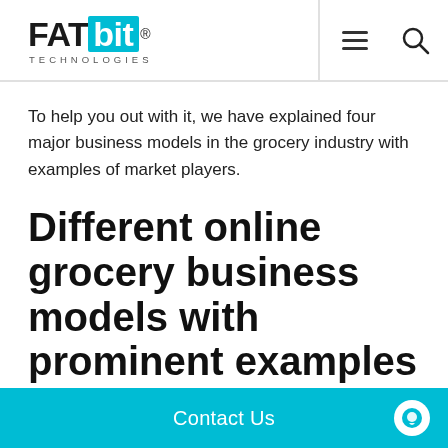FATbit TECHNOLOGIES
To help you out with it, we have explained four major business models in the grocery industry with examples of market players.
Different online grocery business models with prominent examples
Instacart: Hyperlocal grocery business model
Contact Us